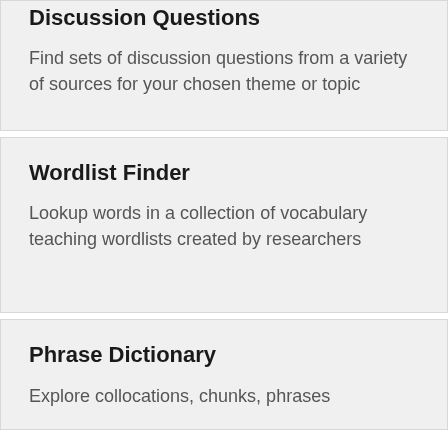Discussion Questions
Find sets of discussion questions from a variety of sources for your chosen theme or topic
Wordlist Finder
Lookup words in a collection of vocabulary teaching wordlists created by researchers
Phrase Dictionary
Explore collocations, chunks, phrases